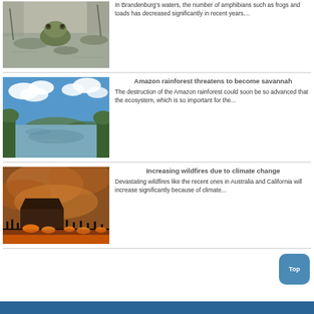[Figure (photo): A green frog sitting in water among aquatic plants, black and white/muted tones]
In Brandenburg's waters, the number of amphibians such as frogs and toads has decreased significantly in recent years....
[Figure (photo): Amazon rainforest river landscape with blue sky and clouds reflecting on water, green vegetation on banks]
Amazon rainforest threatens to become savannah
The destruction of the Amazon rainforest could soon be so advanced that the ecosystem, which is so important for the...
[Figure (photo): Wildfire burning in Australia or California with orange smoke and flames against dark silhouetted landscape with mesa rock formation]
Increasing wildfires due to climate change
Devastating wildfires like the recent ones in Australia and California will increase significantly because of climate...